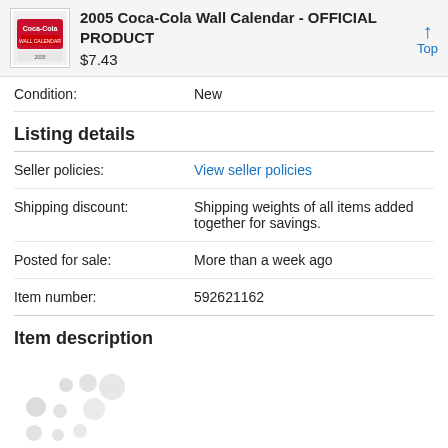2005 Coca-Cola Wall Calendar - OFFICIAL PRODUCT $7.43
| Label | Value |
| --- | --- |
| Condition: | New |
Listing details
| Label | Value |
| --- | --- |
| Seller policies: | View seller policies |
| Shipping discount: | Shipping weights of all items added together for savings. |
| Posted for sale: | More than a week ago |
| Item number: | 592621162 |
Item description
[Figure (other): Loading spinner dots animation placeholder]